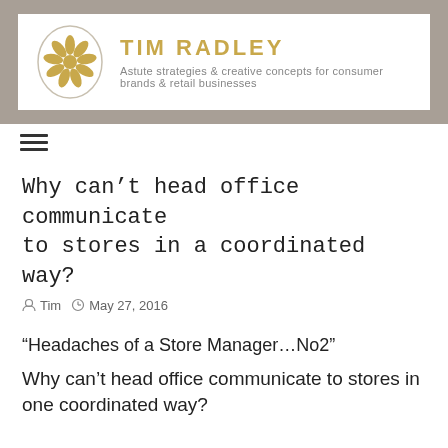[Figure (logo): Tim Radley logo with golden flower/daisy icon and brand name 'TIM RADLEY' with tagline 'Astute strategies & creative concepts for consumer brands & retail businesses']
Why can't head office communicate to stores in a coordinated way?
Tim  May 27, 2016
“Headaches of a Store Manager…No2”
Why can’t head office communicate to stores in one coordinated way?